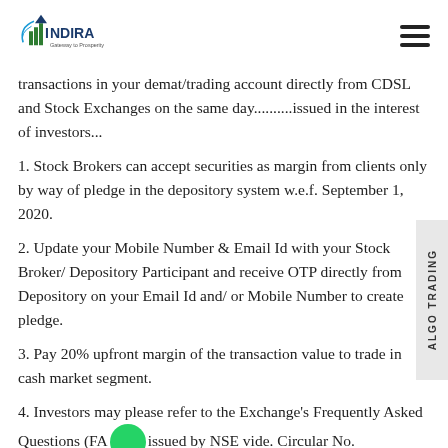INDIRA - Gateway to Prosperity
transactions in your demat/trading account directly from CDSL and Stock Exchanges on the same day..........issued in the interest of investors...
1. Stock Brokers can accept securities as margin from clients only by way of pledge in the depository system w.e.f. September 1, 2020.
2. Update your Mobile Number & Email Id with your Stock Broker/ Depository Participant and receive OTP directly from Depository on your Email Id and/ or Mobile Number to create pledge.
3. Pay 20% upfront margin of the transaction value to trade in cash market segment.
4. Investors may please refer to the Exchange's Frequently Asked Questions (FAQs) issued by NSE vide. Circular No.